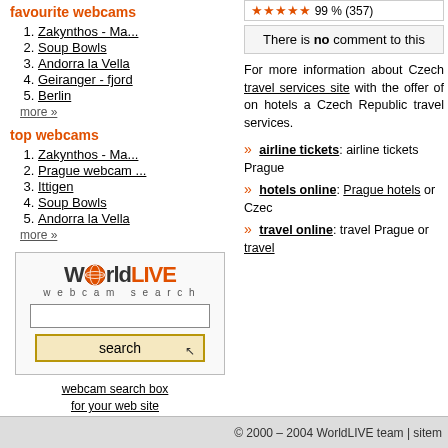favourite webcams
1. Zakynthos - Ma...
2. Soup Bowls
3. Andorra la Vella
4. Geiranger - fjord
5. Berlin
more »
top webcams
1. Zakynthos - Ma...
2. Prague webcam ...
3. Ittigen
4. Soup Bowls
5. Andorra la Vella
more »
[Figure (screenshot): WorldLIVE webcam search widget with logo, text input field, and search button]
webcam search box for your web site
There is no comment to this
For more information about Czech travel services site with the offer of on hotels a Czech Republic travel services.
» airline tickets: airline tickets Prague
» hotels online: Prague hotels or Czec
» travel online: travel Prague or travel
© 2000 – 2004 WorldLIVE team | sitem